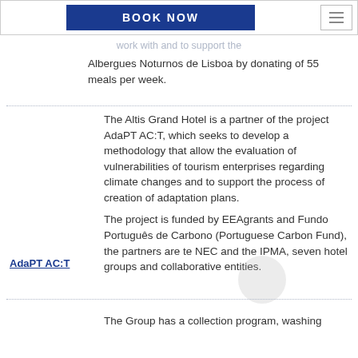[Figure (screenshot): Navigation bar with BOOK NOW blue button and hamburger menu icon]
work with and to support the
Albergues Noturnos de Lisboa by donating of 55 meals per week.
The Altis Grand Hotel is a partner of the project AdaPT AC:T, which seeks to develop a methodology that allow the evaluation of vulnerabilities of tourism enterprises regarding climate changes and to support the process of creation of adaptation plans.
AdaPT AC:T
The project is funded by EEAgrants and Fundo Português de Carbono (Portuguese Carbon Fund), the partners are te NEC and the IPMA, seven hotel groups and collaborative entities.
The Group has a collection program, washing